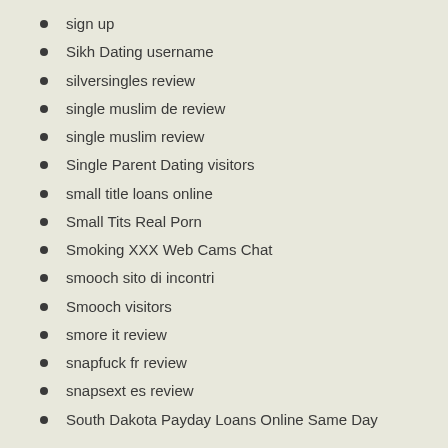sign up
Sikh Dating username
silversingles review
single muslim de review
single muslim review
Single Parent Dating visitors
small title loans online
Small Tits Real Porn
Smoking XXX Web Cams Chat
smooch sito di incontri
Smooch visitors
smore it review
snapfuck fr review
snapsext es review
South Dakota Payday Loans Online Same Day